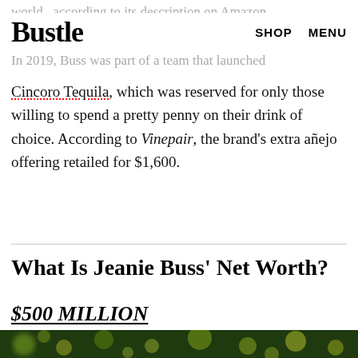world, according to its description on Amazon.
Bustle   SHOP   MENU
In 2019, Buss was part of a team that launched
Cincoro Tequila, which was reserved for only those willing to spend a pretty penny on their drink of choice. According to Vinepair, the brand’s extra añejo offering retailed for $1,600.
What Is Jeanie Buss’ Net Worth?
$500 MILLION
[Figure (photo): Photo of a person with bokeh lights in background, green and yellow tones]